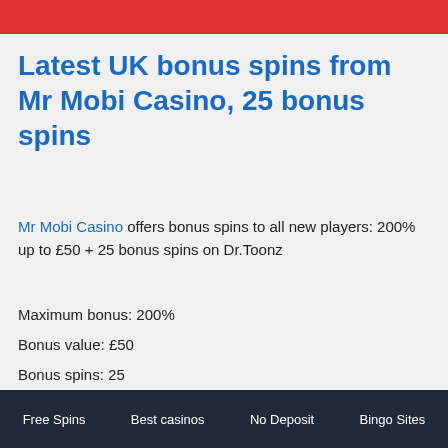[Figure (other): Red banner at top of page]
Latest UK bonus spins from Mr Mobi Casino, 25 bonus spins
Mr Mobi Casino offers bonus spins to all new players: 200% up to £50 + 25 bonus spins on Dr.Toonz
Maximum bonus: 200%
Bonus value: £50
Bonus spins: 25
Bonus wager requirement: 50x
Spins wager requirement: 50x
Free Spins   Best casinos   No Deposit   Bingo Sites